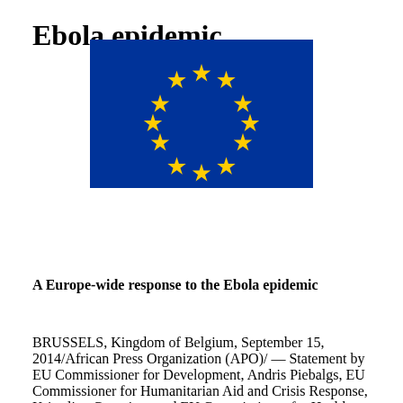Ebola epidemic
[Figure (logo): European Union flag — blue background with a circle of 12 gold stars]
A Europe-wide response to the Ebola epidemic
BRUSSELS, Kingdom of Belgium, September 15, 2014/African Press Organization (APO)/ — Statement by EU Commissioner for Development, Andris Piebalgs, EU Commissioner for Humanitarian Aid and Crisis Response, Kristalina Georgieva and EU Commissioner for Health, Tonio Borg, following the High Level Event to coordinate the response to the Ebola outbreak in West Africa: